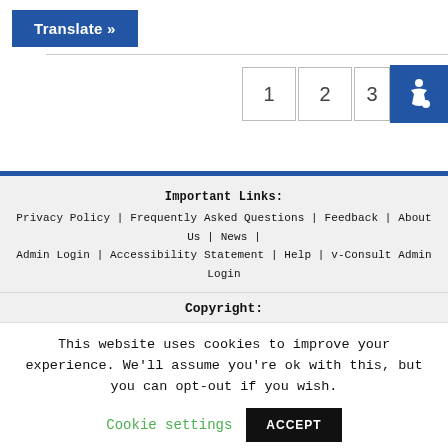Translate »
[Figure (other): Pagination buttons showing page 1, page 2, and a third partially visible, plus a blue accessibility icon with wheelchair symbol]
Important Links: Privacy Policy | Frequently Asked Questions | Feedback | About Us | News | Admin Login | Accessibility Statement | Help | v-Consult Admin Login
Copyright:
This website uses cookies to improve your experience. We'll assume you're ok with this, but you can opt-out if you wish.
Cookie settings   ACCEPT